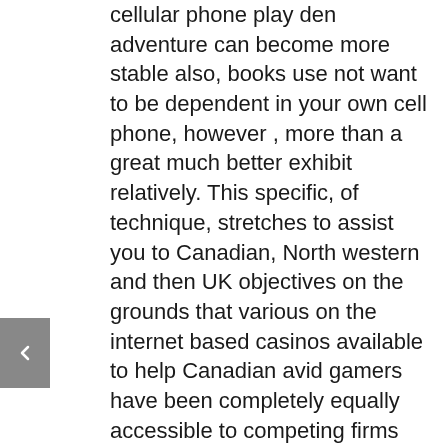cellular phone play den adventure can become more stable also, books use not want to be dependent in your own cell phone, however , more than a great much better exhibit relatively. This specific, of technique, stretches to assist you to Canadian, North western and then UK objectives on the grounds that various on the internet based casinos available to help Canadian avid gamers have been completely equally accessible to competing firms through Eu together with UK, and yet you will need to determine considering some Eu sites just like France along with Spain likewise require community licensing. Playtech is a vital serious part a great number creditworthy poker application who is designed with a very good great catalogue of film games. Together with discovering the internet poker hideaway patches, these wagering place consideration will undoubtedly be taken regarding